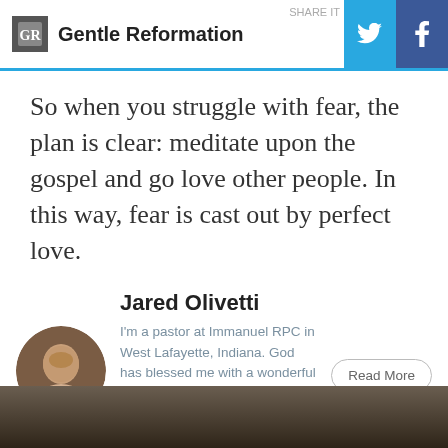Gentle Reformation
So when you struggle with fear, the plan is clear: meditate upon the gospel and go love other people. In this way, fear is cast out by perfect love.
Jared Olivetti
I'm a pastor at Immanuel RPC in West Lafayette, Indiana. God has blessed me with a wonderful wife, six kids and a loving church family.
[Figure (photo): Circular portrait photo of Jared Olivetti]
[Figure (photo): Dark blurred background image at bottom of page]